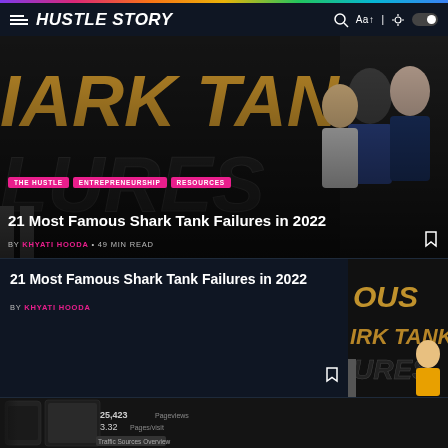HUSTLE STORY
[Figure (screenshot): Shark Tank TV show promotional image with cast members, overlaid with bold text 'TANK FAILURES' and category tags THE HUSTLE, ENTREPRENEURSHIP, RESOURCES]
21 Most Famous Shark Tank Failures in 2022
BY KHYATI HOODA • 49 MIN READ
21 Most Famous Shark Tank Failures in 2022
BY KHYATI HOODA
[Figure (photo): Shark Tank promotional thumbnail image cropped showing 'OUS', 'ARK TANK', 'URES' text with cast members]
[Figure (photo): Black and white photo of a phone and tablet showing analytics dashboard with pageviews data: 25,423 Pageviews, 3.32 Pages/visit, Traffic Sources Overview]